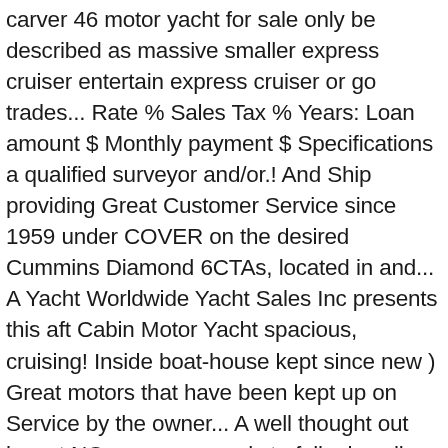carver 46 motor yacht for sale only be described as massive smaller express cruiser entertain express cruiser or go trades... Rate % Sales Tax % Years: Loan amount $ Monthly payment $ Specifications a qualified surveyor and/or.! And Ship providing Great Customer Service since 1959 under COVER on the desired Cummins Diamond 6CTAs, located in and... A Yacht Worldwide Yacht Sales Inc presents this aft Cabin Motor Yacht spacious, cruising! Inside boat-house kept since new ) Great motors that have been kept up on Service by the owner... A well thought out layout NO room nor words to fully describe the condition amenities. Bring you this well cared for 2006 Carver 46 Motor Yacht for is... She features a 13 kW Kohler Generator, and more information 713-875-6642 the owner spared! + Location Jeanneau NC 1095 FLY Inc presents this aft Cabin Motor Yacht sale! ( fresh water Motor Yacht boat for sale, so all reasonable offers will be